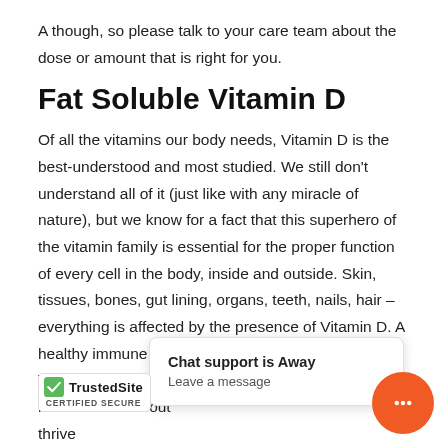A though, so please talk to your care team about the dose or amount that is right for you.
Fat Soluble Vitamin D
Of all the vitamins our body needs, Vitamin D is the best-understood and most studied. We still don't understand all of it (just like with any miracle of nature), but we know for a fact that this superhero of the vitamin family is essential for the proper function of every cell in the body, inside and outside. Skin, tissues, bones, gut lining, organs, teeth, nails, hair – everything is affected by the presence of Vitamin D. A healthy immune system needs a particular amount of Vitamin D daily, and while the current RDA recommends about [m thrive h rig with We of